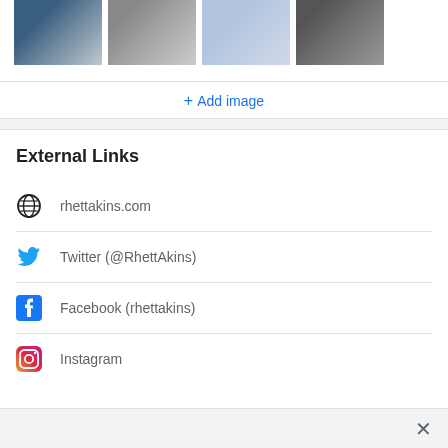[Figure (photo): Row of four thumbnail photos of a country music artist at different times, each showing the artist with guitars or in various poses]
+ Add image
External Links
rhettakins.com
Twitter (@RhettAkins)
Facebook (rhettakins)
Instagram